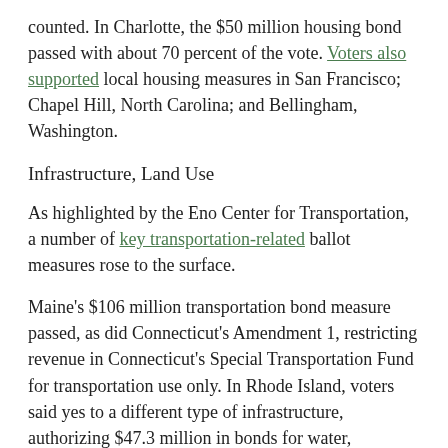counted. In Charlotte, the $50 million housing bond passed with about 70 percent of the vote. Voters also supported local housing measures in San Francisco; Chapel Hill, North Carolina; and Bellingham, Washington.
Infrastructure, Land Use
As highlighted by the Eno Center for Transportation, a number of key transportation-related ballot measures rose to the surface.
Maine's $106 million transportation bond measure passed, as did Connecticut's Amendment 1, restricting revenue in Connecticut's Special Transportation Fund for transportation use only. In Rhode Island, voters said yes to a different type of infrastructure, authorizing $47.3 million in bonds for water, environment, and recreational projects including coastal resiliency and wastewater treatment facilities.